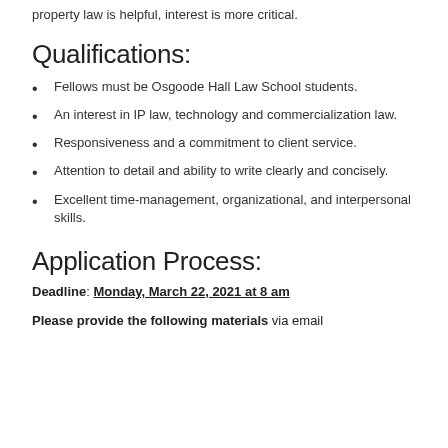property law is helpful, interest is more critical.
Qualifications:
Fellows must be Osgoode Hall Law School students.
An interest in IP law, technology and commercialization law.
Responsiveness and a commitment to client service.
Attention to detail and ability to write clearly and concisely.
Excellent time-management, organizational, and interpersonal skills.
Application Process:
Deadline: Monday, March 22, 2021 at 8 am
Please provide the following materials via email